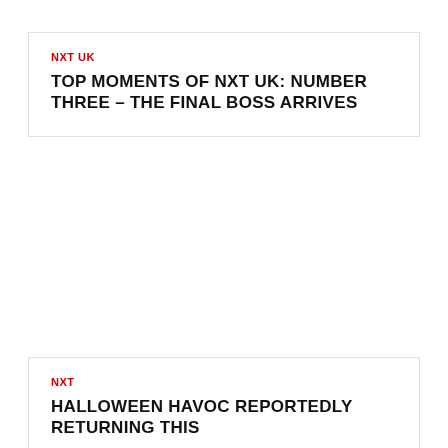NXT UK
TOP MOMENTS OF NXT UK: NUMBER THREE – THE FINAL BOSS ARRIVES
NXT
HALLOWEEN HAVOC REPORTEDLY RETURNING THIS